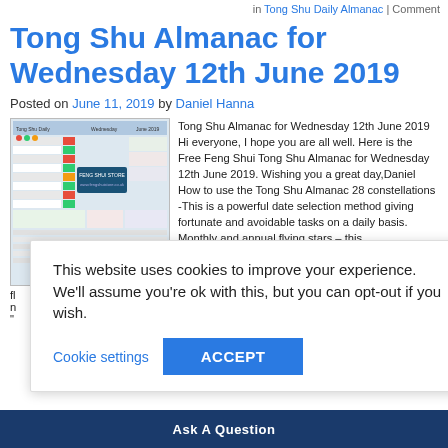in Tong Shu Daily Almanac | Comment
Tong Shu Almanac for Wednesday 12th June 2019
Posted on June 11, 2019 by Daniel Hanna
[Figure (screenshot): Thumbnail image of the Tong Shu Daily Almanac chart for Wednesday 12th June 2019]
Tong Shu Almanac for Wednesday 12th June 2019 Hi everyone,  I hope you are all well. Here is the Free Feng Shui Tong Shu Almanac for Wednesday 12th June 2019. Wishing you a great day,Daniel How to use the Tong Shu Almanac 28 constellations -This is a powerful date selection method giving fortunate and avoidable tasks on a daily basis. Monthly and annual flying stars – this
ght) and monthly (left)
se pillars are for
s numbers – Use these
ily Almanac | Comment
This website uses cookies to improve your experience. We'll assume you're ok with this, but you can opt-out if you wish.
Cookie settings   ACCEPT
Ask A Question